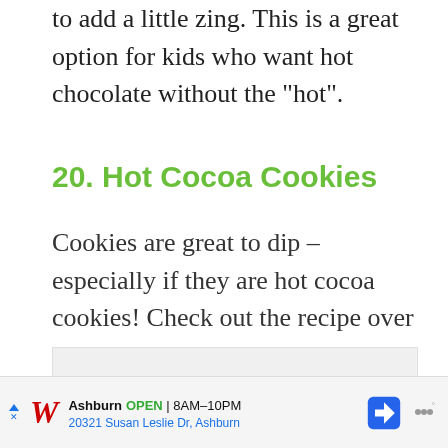to add a little zing. This is a great option for kids who want hot chocolate without the “hot”.
20. Hot Cocoa Cookies
Cookies are great to dip – especially if they are hot cocoa cookies! Check out the recipe over on Baked Bree.
[Figure (other): Gray placeholder rectangle for an image]
Ashburn OPEN 8AM–10PM 20321 Susan Leslie Dr, Ashburn